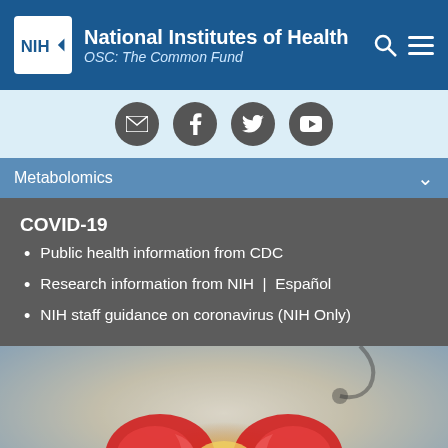National Institutes of Health OSC: The Common Fund
[Figure (screenshot): Social media icons: email, Facebook, Twitter, YouTube]
Metabolomics
COVID-19
Public health information from CDC
Research information from NIH  |  Español
NIH staff guidance on coronavirus (NIH Only)
[Figure (photo): Doctor holding glowing 3D kidney models in cupped hands, stethoscope visible in background]